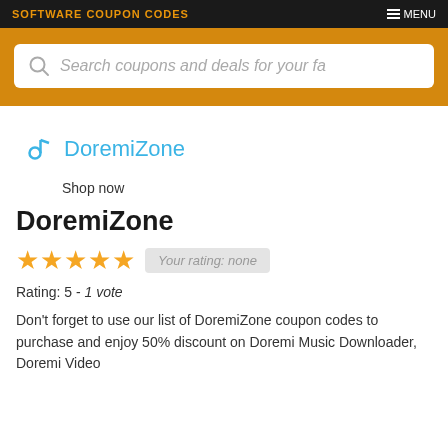SOFTWARE COUPON CODES — MENU
[Figure (screenshot): Search bar with placeholder text: Search coupons and deals for your fa]
[Figure (logo): DoremiZone logo with music note icon in blue]
Shop now
DoremiZone
★★★★★  Your rating: none
Rating: 5 - 1 vote
Don't forget to use our list of DoremiZone coupon codes to purchase and enjoy 50% discount on Doremi Music Downloader, Doremi Video